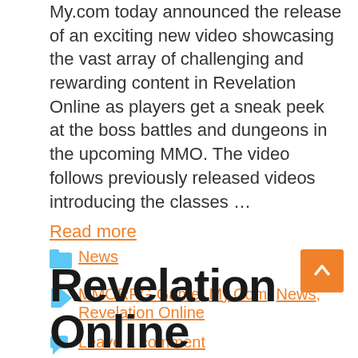My.com today announced the release of an exciting new video showcasing the vast array of challenging and rewarding content in Revelation Online as players get a sneak peek at the boss battles and dungeons in the upcoming MMO. The video follows previously released videos introducing the classes …
Read more
News
MMORPG Game, My.Com, News, Revelation Online
Leave a comment
Revelation Online